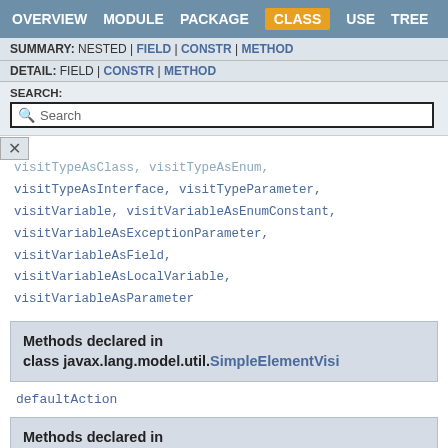OVERVIEW  MODULE  PACKAGE  CLASS  USE  TREE
SUMMARY: NESTED | FIELD | CONSTR | METHOD
DETAIL: FIELD | CONSTR | METHOD
SEARCH:
Search
visitTypeAsClass, visitTypeAsEnum, visitTypeAsInterface, visitTypeParameter, visitVariable, visitVariableAsEnumConstant, visitVariableAsExceptionParameter, visitVariableAsField, visitVariableAsLocalVariable, visitVariableAsParameter
Methods declared in class javax.lang.model.util.SimpleElementVisi
defaultAction
Methods declared in class javax.lang.model.util.AbstractElementVi